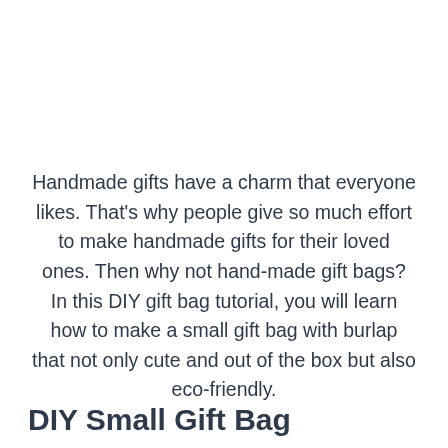Handmade gifts have a charm that everyone likes. That's why people give so much effort to make handmade gifts for their loved ones. Then why not hand-made gift bags? In this DIY gift bag tutorial, you will learn how to make a small gift bag with burlap that not only cute and out of the box but also eco-friendly.
DIY Small Gift Bag